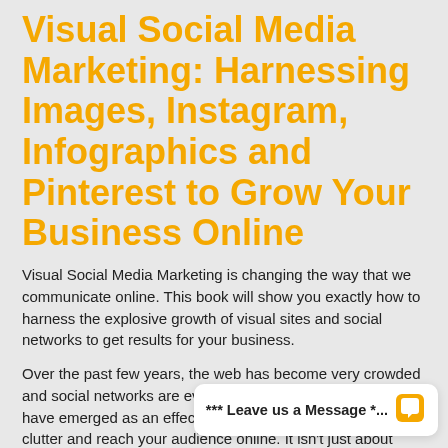Visual Social Media Marketing: Harnessing Images, Instagram, Infographics and Pinterest to Grow Your Business Online
Visual Social Media Marketing is changing the way that we communicate online. This book will show you exactly how to harness the explosive growth of visual sites and social networks to get results for your business.
Over the past few years, the web has become very crowded and social networks are even more cluttered. Visual images have emerged as an effective way to break through the clutter and reach your audience online. It isn't just about social media or social networks either. You want your online content to be…
*** Leave us a Message *...